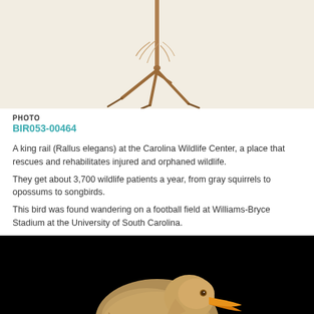[Figure (photo): Close-up of a bird's feet and legs against a light beige/cream background — king rail (Rallus elegans) feet detail]
PHOTO
BIR053-00464
A king rail (Rallus elegans) at the Carolina Wildlife Center, a place that rescues and rehabilitates injured and orphaned wildlife.
They get about 3,700 wildlife patients a year, from gray squirrels to opossums to songbirds.
This bird was found wandering on a football field at Williams-Bryce Stadium at the University of South Carolina.
[Figure (photo): A king rail (Rallus elegans) bird against a black background, showing brown and tan feathers with an orange beak, appearing to be in a hunched posture.]